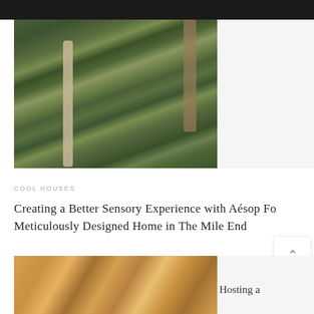[Figure (photo): Lush tropical indoor garden with large green leafy plants, palm trees, white column, and a person standing among the dense vegetation]
COOL HOUSES
Creating a Better Sensory Experience with Aésop For Meticulously Designed Home in The Mile End
[Figure (photo): Partial view of a colorful floral or warm-toned interior photo, cut off at bottom of page]
Hosting a